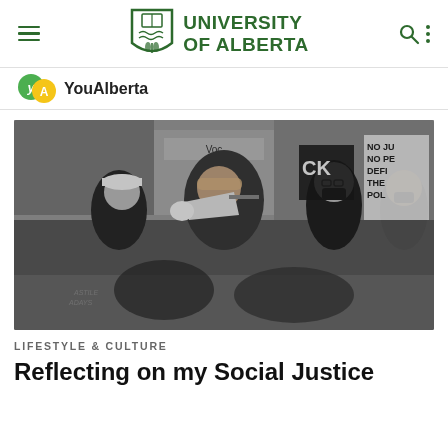University of Alberta
YouAlberta
[Figure (photo): Black and white photograph of a protest scene. A person in the center is speaking into a megaphone/bullhorn, wearing a bandana headband. Other protesters are visible in the background, some wearing masks. Protest signs are visible including ones that read 'NO JU', 'NO PE', 'DEFI', 'THE POL'. People are gathered on a city street.]
LIFESTYLE & CULTURE
Reflecting on my Social Justice